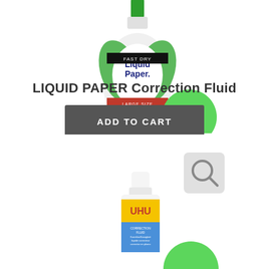[Figure (photo): Liquid Paper Fast Dry correction fluid bottle, large size, with green and black label. A green circular price badge shows $5.15.]
LIQUID PAPER Correction Fluid
ADD TO CART
[Figure (photo): UHU Correction Fluid small bottle with white cap and yellow/blue label. A green circular price badge partially visible at bottom right. A search icon button is visible in the top right area.]